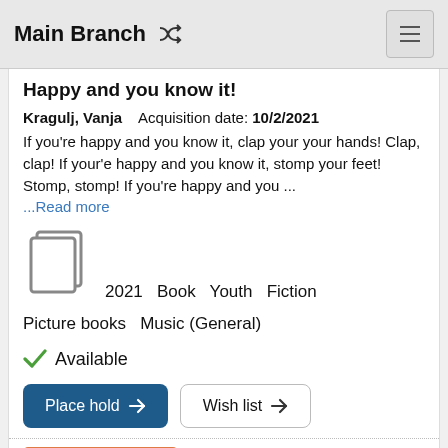Main Branch
Happy and you know it!
Kragulj, Vanja   Acquisition date: 10/2/2021
If you're happy and you know it, clap your your hands! Clap, clap! If your'e happy and you know it, stomp your feet! Stomp, stomp! If you're happy and you ...
...Read more
[Figure (illustration): Book cover icon (gray book/copy icon)]
2021   Book   Youth   Fiction
Picture books   Music (General)
Available
Place hold   Wish list